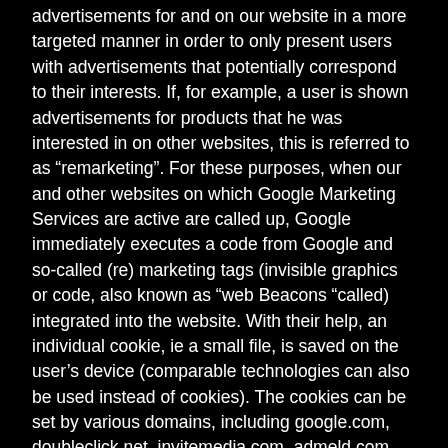advertisements for and on our website in a more targeted manner in order to only present users with advertisements that potentially correspond to their interests. If, for example, a user is shown advertisements for products that he was interested in on other websites, this is referred to as “remarketing”. For these purposes, when our and other websites on which Google Marketing Services are active are called up, Google immediately executes a code from Google and so-called (re) marketing tags (invisible graphics or code, also known as “web Beacons “called) integrated into the website. With their help, an individual cookie, ie a small file, is saved on the user’s device (comparable technologies can also be used instead of cookies). The cookies can be set by various domains, including google.com, doubleclick.net, invitemedia.com, admeld.com,